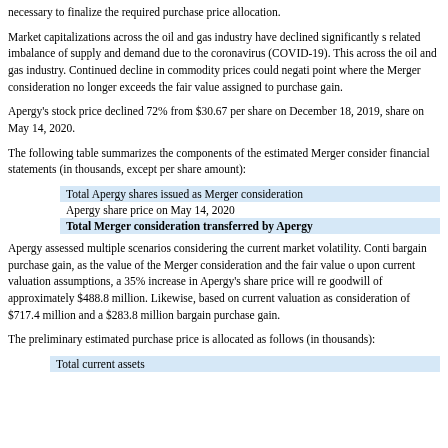necessary to finalize the required purchase price allocation.
Market capitalizations across the oil and gas industry have declined significantly since the related imbalance of supply and demand due to the coronavirus (COVID-19). This across the oil and gas industry. Continued decline in commodity prices could negatively point where the Merger consideration no longer exceeds the fair value assigned to purchase gain.
Apergy's stock price declined 72% from $30.67 per share on December 18, 2019, to share on May 14, 2020.
The following table summarizes the components of the estimated Merger consideration financial statements (in thousands, except per share amount):
| Description | Value |
| --- | --- |
| Total Apergy shares issued as Merger consideration |  |
| Apergy share price on May 14, 2020 |  |
| Total Merger consideration transferred by Apergy |  |
Apergy assessed multiple scenarios considering the current market volatility. Continued bargain purchase gain, as the value of the Merger consideration and the fair value of upon current valuation assumptions, a 35% increase in Apergy's share price will result in goodwill of approximately $488.8 million. Likewise, based on current valuation assumptions consideration of $717.4 million and a $283.8 million bargain purchase gain.
The preliminary estimated purchase price is allocated as follows (in thousands):
| Description |
| --- |
| Total current assets |